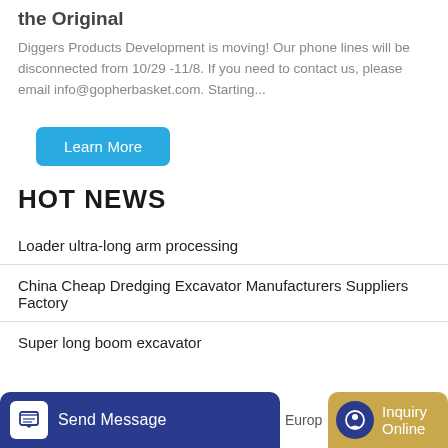the Original
Diggers Products Development is moving! Our phone lines will be disconnected from 10/29 -11/8. If you need to contact us, please email info@gopherbasket.com. Starting...
Learn More
HOT NEWS
Loader ultra-long arm processing
China Cheap Dredging Excavator Manufacturers Suppliers Factory
Super long boom excavator
Send Message
Europ
Inquiry Online